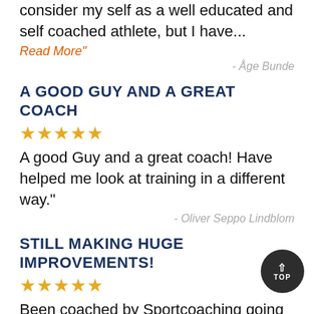Graeme is really on top of the game! I consider my self as a well educated and self coached athlete, but I have...
Read More"
- Åge Bunde
A GOOD GUY AND A GREAT COACH
★★★★★
A good Guy and a great coach! Have helped me look at training in a different way."
- Oliver Seppo Lindblom
STILL MAKING HUGE IMPROVEMENTS!
★★★★★
Been coached by Sportcoaching going on 5 years. Always quick feedback and ready to answer questions any time of ...
Read More"